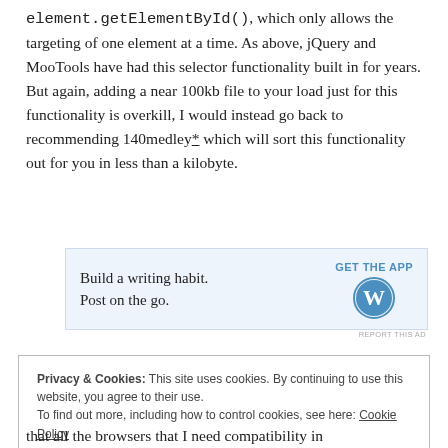element.getElementById(), which only allows the targeting of one element at a time. As above, jQuery and MooTools have had this selector functionality built in for years. But again, adding a near 100kb file to your load just for this functionality is overkill, I would instead go back to recommending 140medley* which will sort this functionality out for you in less than a kilobyte.
[Figure (other): WordPress app advertisement banner: 'Build a writing habit. Post on the go.' with GET THE APP button and WordPress logo]
REPORT THIS AD
Privacy & Cookies: This site uses cookies. By continuing to use this website, you agree to their use.
To find out more, including how to control cookies, see here: Cookie Policy
that all the browsers that I need compatibility in